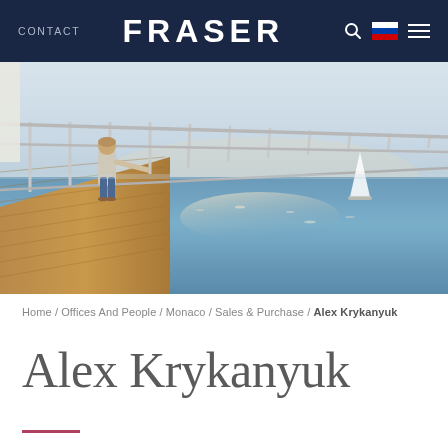CONTACT  FRASER
[Figure (photo): A person standing on a yacht deck looking out at the sea, with metal railings and a sailboat visible in the background. Warm sunlight reflects off the water.]
Home / Offices And People / Monaco / Sales & Purchase / Alex Krykanyuk
Alex Krykanyuk